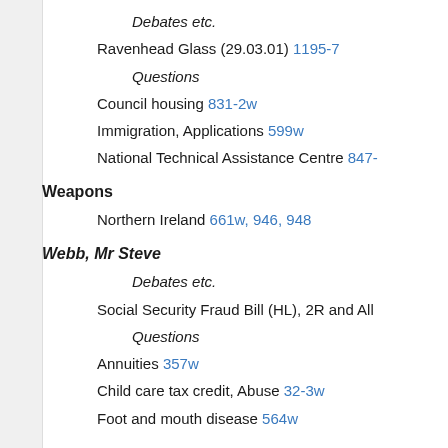Debates etc.
Ravenhead Glass (29.03.01) 1195-7
Questions
Council housing 831-2w
Immigration, Applications 599w
National Technical Assistance Centre 847-
Weapons
Northern Ireland 661w, 946, 948
Webb, Mr Steve
Debates etc.
Social Security Fraud Bill (HL), 2R and All
Questions
Annuities 357w
Child care tax credit, Abuse 32-3w
Foot and mouth disease 564w